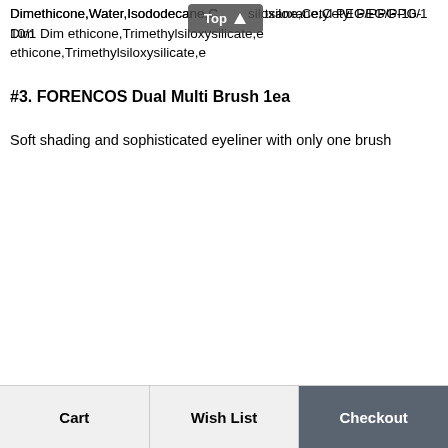Dimethicone,Water,Isododecane,Cyclopentasiloxane,Cetyl PEG/PPG-10/1 Dimethicone,Trimethylsiloxysilicate,e...
#3. FORENCOS Dual Multi Brush 1ea
Soft shading and sophisticated eyeliner with only one brush
Cart | Wish List | Checkout